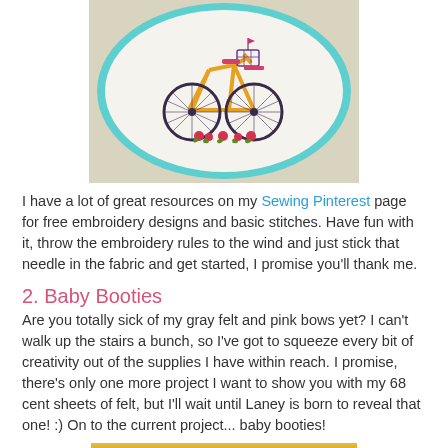[Figure (photo): Embroidery hoop with a bicycle design stitched in yellow thread with colorful flowers, framed in a cyan/teal hoop, on a textured background.]
I have a lot of great resources on my Sewing Pinterest page for free embroidery designs and basic stitches.  Have fun with it, throw the embroidery rules to the wind and just stick that needle in the fabric and get started, I promise you'll thank me.
2. Baby Booties
Are you totally sick of my gray felt and pink bows yet?  I can't walk up the stairs a bunch, so I've got to squeeze every bit of creativity out of the supplies I have within reach.  I promise, there's only one more project I want to show you with my 68 cent sheets of felt, but I'll wait until Laney is born to reveal that one! :)  On to the current project... baby booties!
[Figure (photo): Partial photo at the bottom showing a yellow/golden textured fabric or material, cropped.]